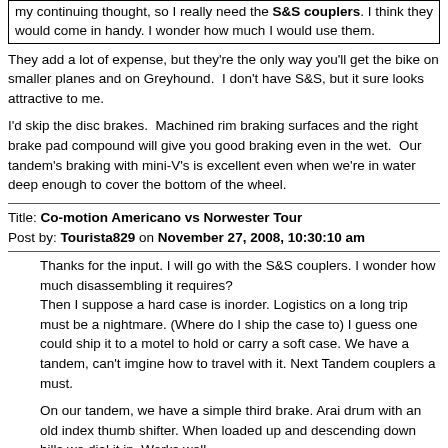my continuing thought, so I really need the S&S couplers. I think they would come in handy. I wonder how much I would use them.
They add a lot of expense, but they're the only way you'll get the bike on smaller planes and on Greyhound. I don't have S&S, but it sure looks attractive to me.
I'd skip the disc brakes. Machined rim braking surfaces and the right brake pad compound will give you good braking even in the wet. Our tandem's braking with mini-V's is excellent even when we're in water deep enough to cover the bottom of the wheel.
Title: Co-motion Americano vs Norwester Tour
Post by: Tourista829 on November 27, 2008, 10:30:10 am
Thanks for the input. I will go with the S&S couplers. I wonder how much disassembling it requires?
Then I suppose a hard case is inorder. Logistics on a long trip must be a nightmare. (Where do I ship the case to) I guess one could ship it to a motel to hold or carry a soft case. We have a tandem, can't imgine how to travel with it. Next Tandem couplers a must.
On our tandem, we have a simple third brake. Arai drum with an old index thumb shifter. When loaded up and descending down hills we dial it in. Works well.
You are probably correct about the disk brakes on an Americano. Maybe be felt the blend consideration the